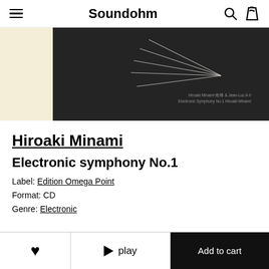Soundohm
[Figure (photo): Album cover for Electronic Symphony No.1 by Hiroaki Minami on Edition Omega Point. Dark textured background with thin white lines radiating from a central point, cream colored side panel.]
Hiroaki Minami
Electronic symphony No.1
Label: Edition Omega Point
Format: CD
Genre: Electronic